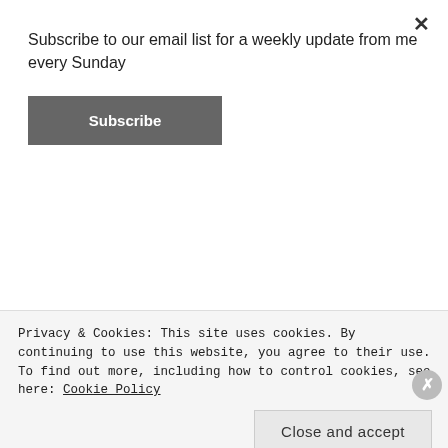Subscribe to our email list for a weekly update from me every Sunday
Subscribe
[Figure (photo): Young woman with long wavy brown hair, wearing a pink jacket over a gray shirt, posed in front of a pink/purple background. Text on background reads 'Adventure Begin' and 'GUTSY'.]
Privacy & Cookies: This site uses cookies. By continuing to use this website, you agree to their use.
To find out more, including how to control cookies, see here: Cookie Policy
Close and accept